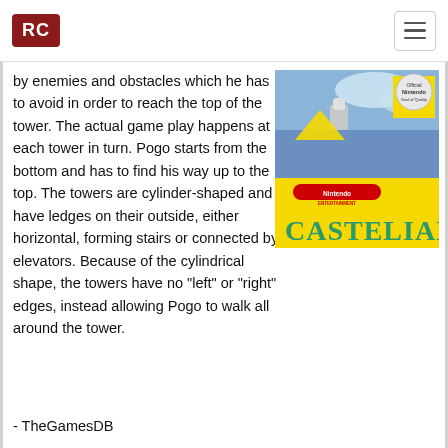RC
by enemies and obstacles which he has to avoid in order to reach the top of the tower. The actual game play happens at each tower in turn. Pogo starts from the bottom and has to find his way up to the top. The towers are cylinder-shaped and have ledges on their outside, either horizontal, forming stairs or connected by elevators. Because of the cylindrical shape, the towers have no "left" or "right" edges, instead allowing Pogo to walk all around the tower.
[Figure (photo): Game box art for Castelian on Nintendo Entertainment System, featuring a yellow background with the game title 'CASTELIAN' in teal letters, Nintendo logo, and action screenshot]
- TheGamesDB